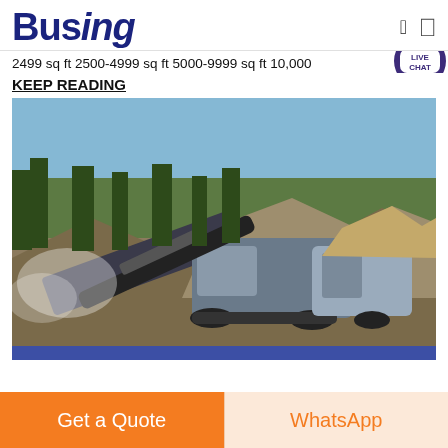Busing
2499 sq ft 2500-4999 sq ft 5000-9999 sq ft 10,000
KEEP READING
[Figure (photo): Industrial mining/quarry machinery with conveyor belts and crushers operating at a quarry site with trees and sky in background]
Get a Quote
WhatsApp